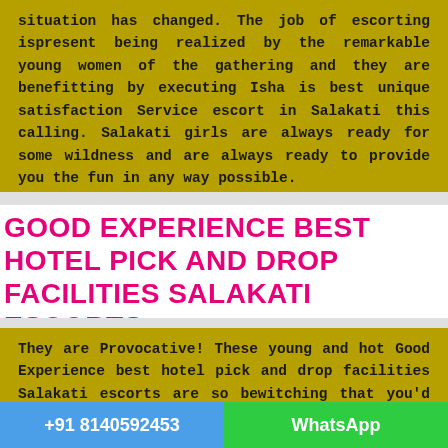situation has changed. The job of escorting ispresent being realized by the remarkable young women of the gathering and they are benefitting by executing Isha is best unique satisfaction Service escort in Salakati this calling. Salakati girls are always ready for some wildness and are always ready to provide you the fun in any way possible.
GOOD EXPERIENCE BEST HOTEL PICK AND DROP FACILITIES SALAKATI ESCORTS
They are Provocative! These young and hot Good Experience best hotel pick and drop facilities Salakati escorts are so bewitching that you'd never want to leave the city of Salakati but even if you do you'd want to come
+91 8140592453   WhatsApp